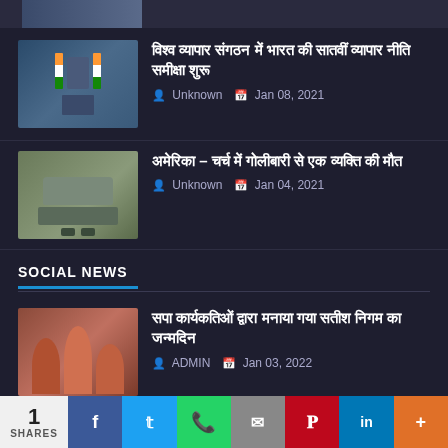[Figure (photo): Partially visible clipped image at top]
[Figure (photo): Official in mask at desk with Indian flags]
विश्व व्यापार संगठन में भारत की सातवीं व्यापार नीति समीक्षा शुरू
Unknown  Jan 08, 2021
[Figure (photo): Parking lot with SUV and cars outdoors]
अमेरिका – चर्च में गोलीबारी से एक व्यक्ति की मौत
Unknown  Jan 04, 2021
SOCIAL NEWS
[Figure (photo): Group of people at a social/political event with garlands]
सपा कार्यकतिओं द्वारा मनाया गया सतीश निगम का जन्मदिन
ADMIN  Jan 03, 2022
[Figure (photo): Event banner with people at political gathering]
व्यापार सभा ग्रामीण ने किया बूथ सम्मेलन का आयोजन
1 SHARES
1 SHARES  f  t  WhatsApp  Email  Pinterest  in  More